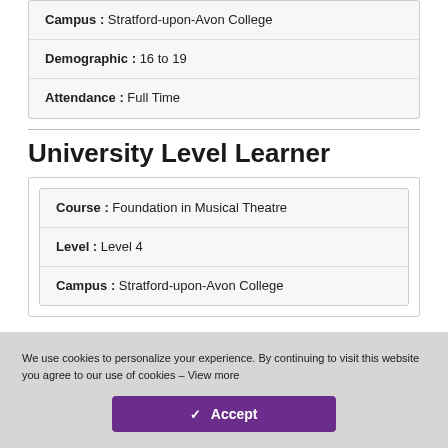| Campus : | Stratford-upon-Avon College |
| Demographic : | 16 to 19 |
| Attendance : | Full Time |
University Level Learner
| Course : | Foundation in Musical Theatre |
| Level : | Level 4 |
| Campus : | Stratford-upon-Avon College |
We use cookies to personalize your experience. By continuing to visit this website you agree to our use of cookies – View more